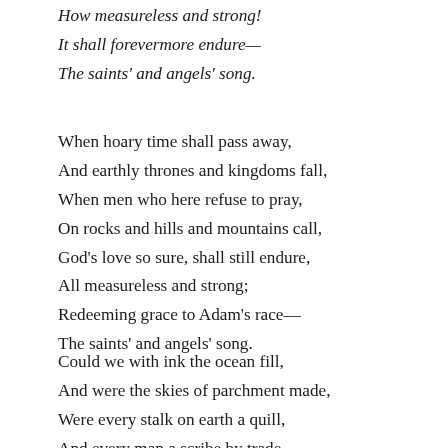How measureless and strong!
It shall forevermore endure—
The saints' and angels' song.
When hoary time shall pass away,
And earthly thrones and kingdoms fall,
When men who here refuse to pray,
On rocks and hills and mountains call,
God's love so sure, shall still endure,
All measureless and strong;
Redeeming grace to Adam's race—
The saints' and angels' song.
Could we with ink the ocean fill,
And were the skies of parchment made,
Were every stalk on earth a quill,
And every man a scribe by trade,